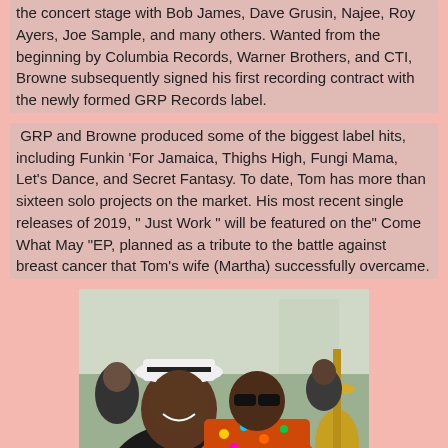the concert stage with Bob James, Dave Grusin, Najee, Roy Ayers, Joe Sample, and many others. Wanted from the beginning by Columbia Records, Warner Brothers, and CTI, Browne subsequently signed his first recording contract with the newly formed GRP Records label.
GRP and Browne produced some of the biggest label hits, including Funkin 'For Jamaica, Thighs High, Fungi Mama, Let's Dance, and Secret Fantasy. To date, Tom has more than sixteen solo projects on the market. His most recent single releases of 2019, " Just Work " will be featured on the" Come What May "EP, planned as a tribute to the battle against breast cancer that Tom's wife (Martha) successfully overcame.
[Figure (photo): Two men posing together for a photo indoors. The man on the left wears a white fedora hat and dark jacket, smiling broadly. The man on the right wears sunglasses and a colorful floral shirt. A guitar with gold/yellow finish is partially visible on the right. Other people are visible in the background.]